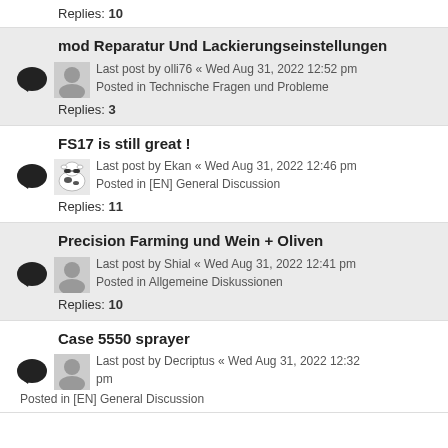Replies: 10
mod Reparatur Und Lackierungseinstellungen
Last post by olli76 « Wed Aug 31, 2022 12:52 pm
Posted in Technische Fragen und Probleme
Replies: 3
FS17 is still great !
Last post by Ekan « Wed Aug 31, 2022 12:46 pm
Posted in [EN] General Discussion
Replies: 11
Precision Farming und Wein + Oliven
Last post by Shial « Wed Aug 31, 2022 12:41 pm
Posted in Allgemeine Diskussionen
Replies: 10
Case 5550 sprayer
Last post by Decriptus « Wed Aug 31, 2022 12:32 pm
Posted in [EN] General Discussion